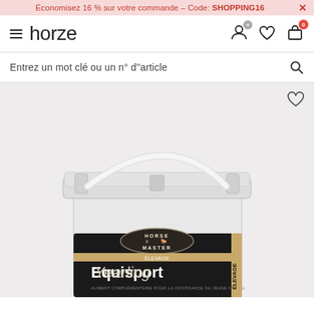Économisez 16 % sur votre commande – Code: SHOPPING16
[Figure (screenshot): Horze website navigation bar with hamburger menu, horze logo, user account icon, wishlist heart icon, and shopping bag icon with badge showing 0]
Entrez un mot clé ou un n° d''article
[Figure (photo): Large white plastic bucket with Horse Master Equisport Yearling label visible on the front. The label shows a dark background with the Horse Master logo (horse silhouette), and bold text reading 'Equisport Yearling'. A white plastic handle is visible. The bucket is photographed on a light grey background.]